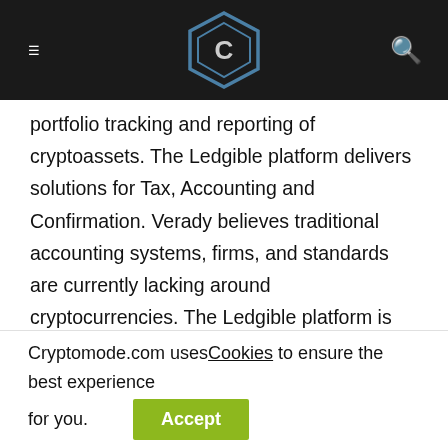Cryptomode - Navigation bar with logo
portfolio tracking and reporting of cryptoassets. The Ledgible platform delivers solutions for Tax, Accounting and Confirmation. Verady believes traditional accounting systems, firms, and standards are currently lacking around cryptocurrencies. The Ledgible platform is the bridge between cryptoassets and traditional financial accounting.
About The Accounting Blockchain Coalition
The Accounting Blockchain Coalition is an industry association formed to educate businesses and organizations on accounting matters relevant to digital assets and
Cryptomode.com uses Cookies to ensure the best experience for you.
Accept